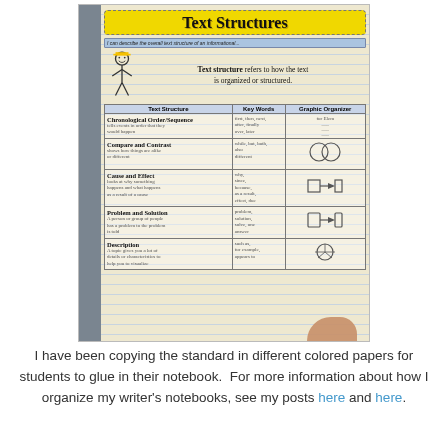[Figure (photo): Photo of a student notebook open to a 'Text Structures' reference page glued in. The page has a yellow dashed-border title banner reading 'Text Structures', a definition stating 'Text structure refers to how the text is organized or structured', and a table with columns for Text Structure, Key Words, and Graphic Organizer. Rows include: Chronological Order/Sequence, Compare and Contrast, Cause and Effect, Problem and Solution, and Description. Each row contains handwritten student notes and small graphic organizer sketches. A hand/finger is visible at bottom of page.]
I have been copying the standard in different colored papers for students to glue in their notebook.  For more information about how I organize my writer's notebooks, see my posts here and here.